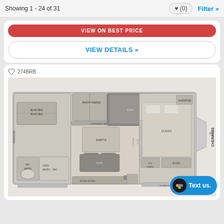Showing 1 - 24 of 31
VIEW DETAILS »
[Figure (engineering-diagram): RV floor plan diagram for Cherokee 274BRB model showing layout with bunk beds, queen bed, dinette, sofa, kitchen, and bathroom areas. Brand label 'CHERAKEE' visible on right side.]
Text us.